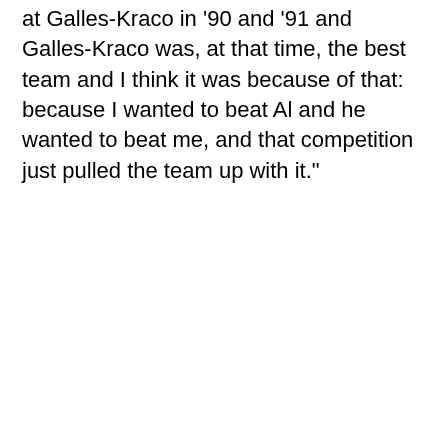at Galles-Kraco in '90 and '91 and Galles-Kraco was, at that time, the best team and I think it was because of that: because I wanted to beat Al and he wanted to beat me, and that competition just pulled the team up with it."